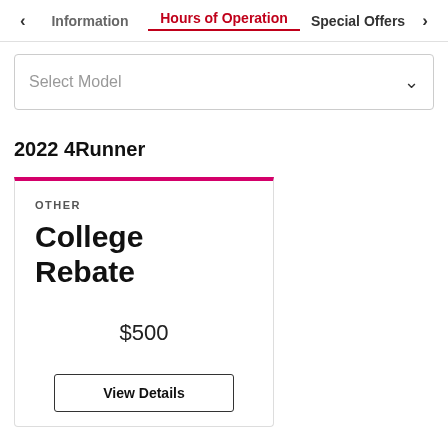< Information | Hours of Operation | Special Offers >
Select Model
2022 4Runner
OTHER
College Rebate
$500
View Details